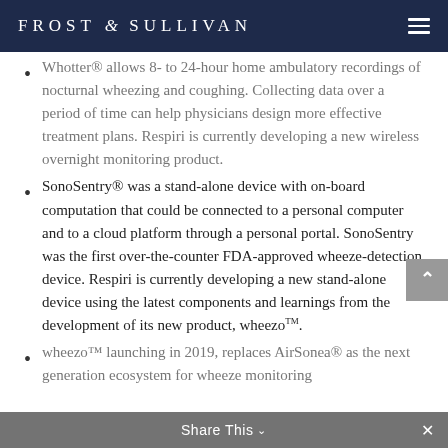FROST & SULLIVAN
Whotter® allows 8- to 24-hour home ambulatory recordings of nocturnal wheezing and coughing. Collecting data over a period of time can help physicians design more effective treatment plans. Respiri is currently developing a new wireless overnight monitoring product.
SonoSentry® was a stand-alone device with on-board computation that could be connected to a personal computer and to a cloud platform through a personal portal. SonoSentry was the first over-the-counter FDA-approved wheeze-detection device. Respiri is currently developing a new stand-alone device using the latest components and learnings from the development of its new product, wheezoTM.
wheezo™ launching in 2019, replaces AirSonea® as the next generation ecosystem for wheeze monitoring